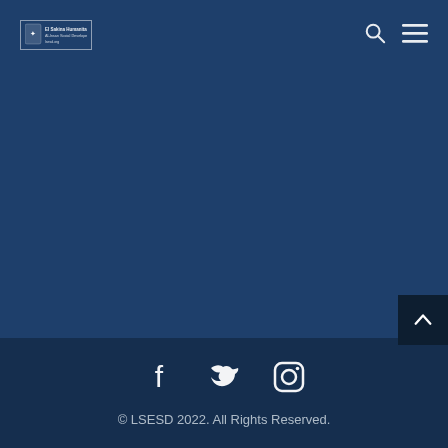LSESD logo and navigation icons (search, menu)
[Figure (logo): LSESD organization logo with small emblem and text in a bordered box]
Social media icons: Facebook, Twitter, Instagram
© LSESD 2022. All Rights Reserved.